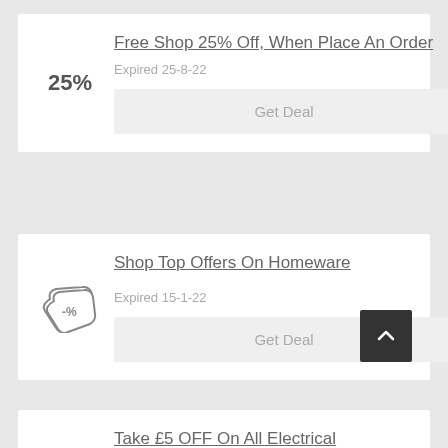Free Shop 25% Off, When Place An Order
Expired 25-8-22
Get Deal
Shop Top Offers On Homeware
Expired 15-1-22
Get Deal
Take £5 OFF On All Electrical Purchases Over £40 With This T